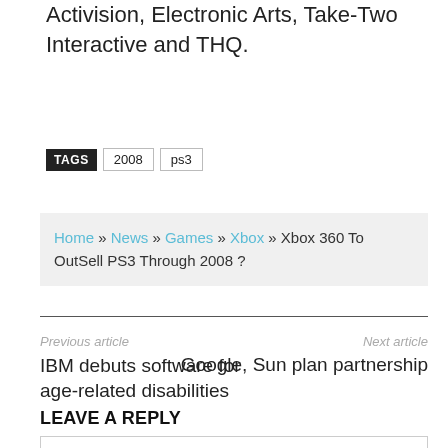Activision, Electronic Arts, Take-Two Interactive and THQ.
TAGS  2008  ps3
Home » News » Games » Xbox » Xbox 360 To OutSell PS3 Through 2008 ?
Previous article
Next article
IBM debuts software for age-related disabilities
Google, Sun plan partnership
LEAVE A REPLY